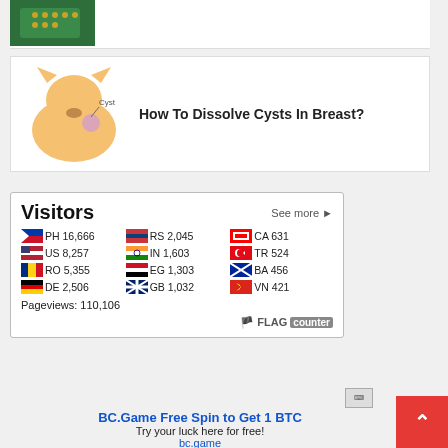[Figure (screenshot): Top card with green table/game image thumbnail]
[Figure (illustration): Medical illustration of a fox-like body showing a cyst location labeled 'Cyst' with an arrow]
How To Dissolve Cysts In Breast?
[Figure (infographic): Flag Counter visitors widget showing country flags with visit counts: PH 16,666 | RS 2,045 | CA 631 | US 8,257 | IN 1,603 | TR 524 | RO 5,355 | EG 1,303 | BA 456 | DE 2,506 | GB 1,032 | VN 421 | Pageviews: 110,106]
BC.Game Free Spin to Get 1 BTC
Try your luck here for free!
bc.game